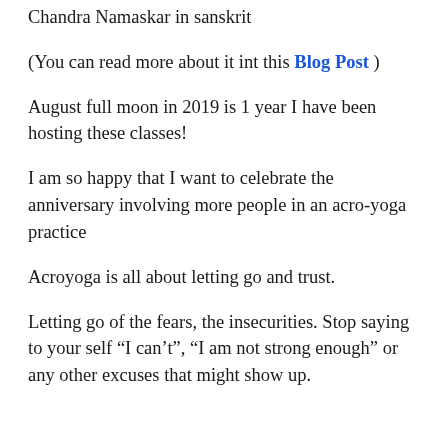Chandra Namaskar in sanskrit
(You can read more about it int this Blog Post )
August full moon in 2019 is 1 year I have been hosting these classes!
I am so happy that I want to celebrate the anniversary involving more people in an acro-yoga practice
Acroyoga is all about letting go and trust.
Letting go of the fears, the insecurities. Stop saying to your self “I can’t”, “I am not strong enough” or any other excuses that might show up.